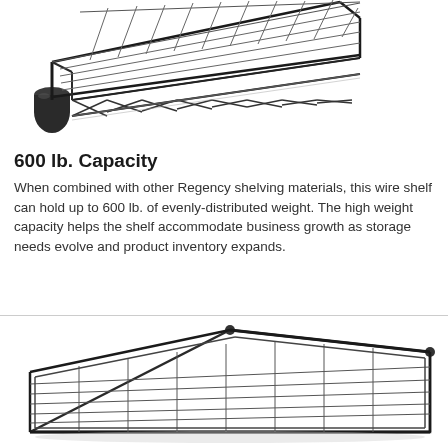[Figure (photo): Black wire shelf with cylindrical post connector, viewed from corner at angle, showing grid wire top and X-pattern side brace.]
600 lb. Capacity
When combined with other Regency shelving materials, this wire shelf can hold up to 600 lb. of evenly-distributed weight. The high weight capacity helps the shelf accommodate business growth as storage needs evolve and product inventory expands.
[Figure (photo): Black wire shelf viewed from slightly above, flat angle, showing full rectangular grid top surface with parallel wires.]